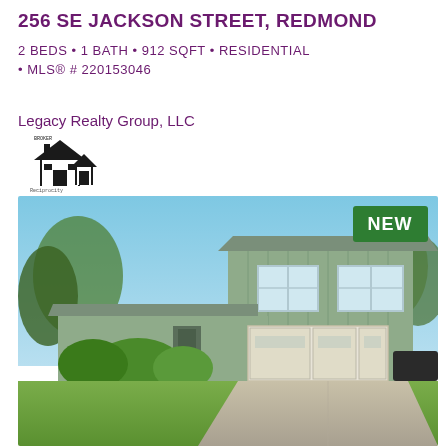256 SE JACKSON STREET, REDMOND
2 BEDS • 1 BATH • 912 SQFT • RESIDENTIAL • MLS® # 220153046
Legacy Realty Group, LLC
[Figure (logo): Legacy Realty Group broker/realtor house logo icon in pixel art style]
[Figure (photo): Exterior photo of a two-story light green/sage residential home with attached two-car garage, front lawn, trees and blue sky. A green NEW badge appears in the upper right corner.]